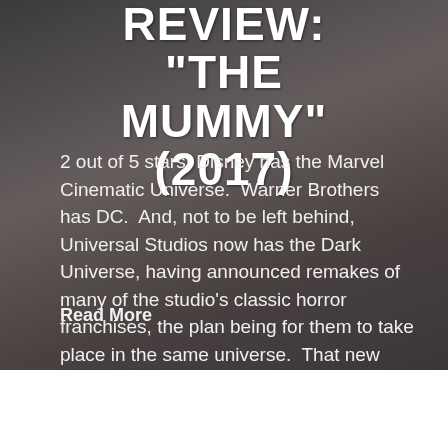REVIEW: "THE MUMMY" (2017)
2 out of 5 stars. Disney has the Marvel Cinematic Universe.  Warner Brothers has DC.  And, not to be left behind, Universal Studios now has the Dark Universe, having announced remakes of many of the studio's classic horror franchises, the plan being for them to take place in the same universe.  That new series is [...]
Read More
OLDER POSTS →